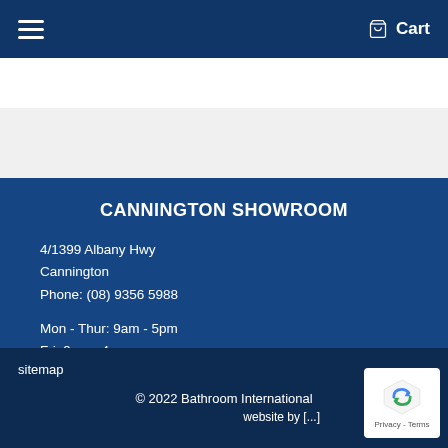Cart
CANNINGTON SHOWROOM
4/1399 Albany Hwy
Cannington
Phone: (08) 9356 5988
Mon - Thur: 9am - 5pm
Fri: 9am - 4pm
Sat: 9am - 12pm
Servicing All Areas of Metro and Country WA
sitemap
© 2022 Bathroom International
website by [...]